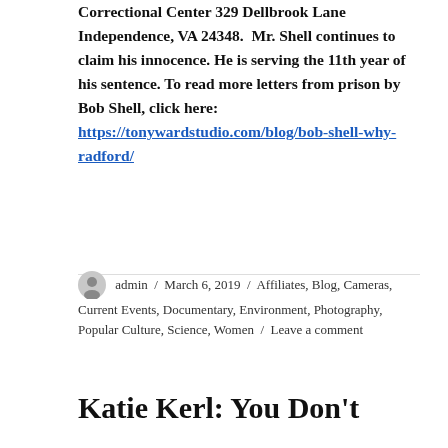Correctional Center 329 Dellbrook Lane Independence, VA 24348. Mr. Shell continues to claim his innocence. He is serving the 11th year of his sentence. To read more letters from prison by Bob Shell, click here: https://tonywardstudio.com/blog/bob-shell-why-radford/
admin / March 6, 2019 / Affiliates, Blog, Cameras, Current Events, Documentary, Environment, Photography, Popular Culture, Science, Women / Leave a comment
Katie Kerl: You Don't